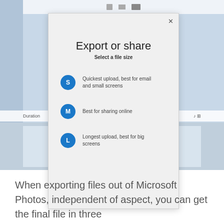[Figure (screenshot): Screenshot of Microsoft Photos showing an 'Export or share' modal dialog with three file size options: S (Quickest upload, best for email and small screens), M (Best for sharing online), L (Longest upload, best for big screens). The background shows a photo editing interface with a filmstrip at the bottom.]
When exporting files out of Microsoft Photos, independent of aspect, you can get the final file in three